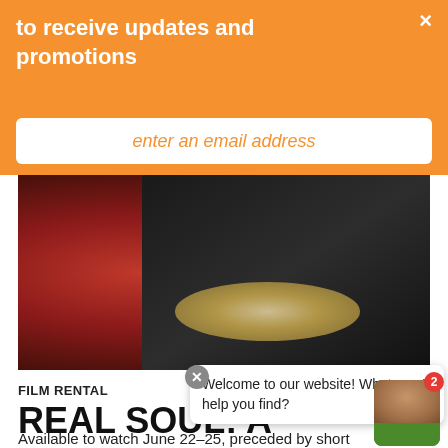to receive updates and promotions
enter an email address
[Figure (photo): Close-up photo of a performer wearing dark clothing and a gold/pearl necklace, with a red background visible on the left]
FILM RENTAL
REAL SOUL: A GOSPEL MUSIC STORY
Available to watch June 22–25, preceded by short
Welcome to our website! What can I help you find?